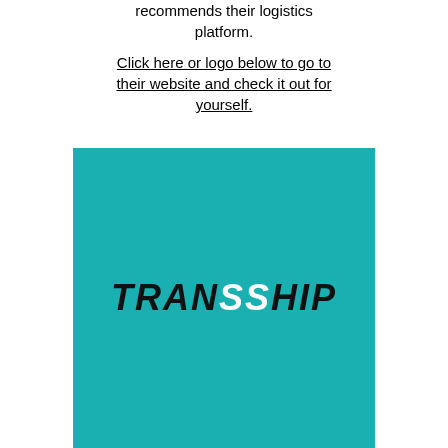recommends their logistics platform.
Click here or logo below to go to their website and check it out for yourself.
[Figure (logo): TRANSSHIP logo — bold italic white and black text on a teal/cyan background rectangle]